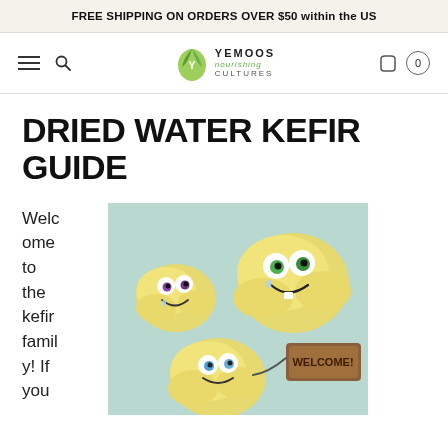FREE SHIPPING ON ORDERS OVER $50 within the US
[Figure (screenshot): Website navigation bar with hamburger menu, search icon, Yemoos Nourishing Cultures logo (green leaf icon), shopping cart icon and 0 count badge]
DRIED WATER KEFIR GUIDE
Welcome to the kefir family! If you
[Figure (illustration): Three cartoon-style yellow kefir grains with smiling faces and large eyes, one holding a wooden WELCOME sign. Light blue-green background.]